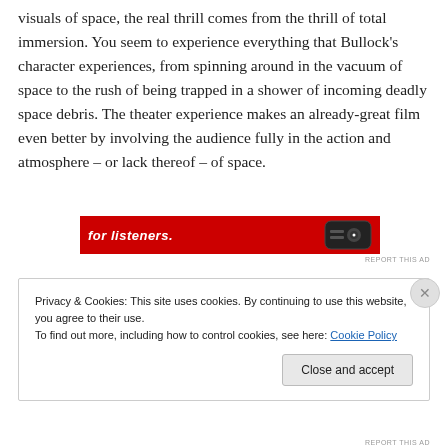visuals of space, the real thrill comes from the thrill of total immersion. You seem to experience everything that Bullock's character experiences, from spinning around in the vacuum of space to the rush of being trapped in a shower of incoming deadly space debris. The theater experience makes an already-great film even better by involving the audience fully in the action and atmosphere – or lack thereof – of space.
[Figure (other): Red advertisement banner with white italic text 'for listeners.' and a remote control image on the right]
REPORT THIS AD
Privacy & Cookies: This site uses cookies. By continuing to use this website, you agree to their use.
To find out more, including how to control cookies, see here: Cookie Policy
Close and accept
REPORT THIS AD